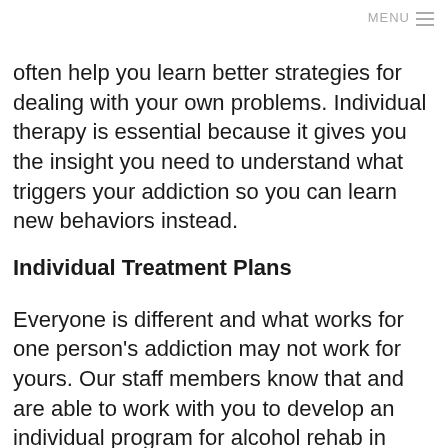MENU
often help you learn better strategies for dealing with your own problems. Individual therapy is essential because it gives you the insight you need to understand what triggers your addiction so you can learn new behaviors instead.
Individual Treatment Plans
Everyone is different and what works for one person's addiction may not work for yours. Our staff members know that and are able to work with you to develop an individual program for alcohol rehab in Pennsylvania. The original twelve-step